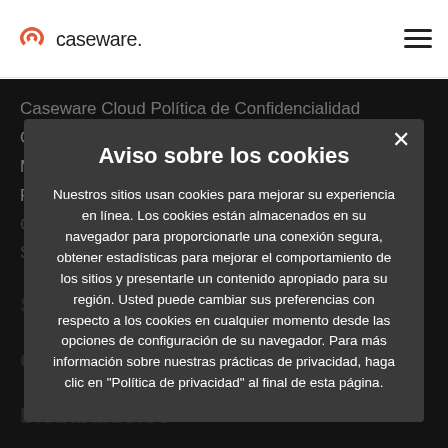[Figure (logo): Caseware logo with red arc icon and wordmark 'caseware.' in dark text]
[Figure (other): Hamburger menu icon (three horizontal lines)]
Caseware Cloud Política de Confidencialidad
Condiciones de uso
Marcas registradas
Política de accesibilidad
Código de conducta
Subscription A...
Soporte
Capacitación
Distribuidores
Eventos
MyCaseWare
Aviso sobre los cookies
Nuestros sitios usan cookies para mejorar su experiencia en línea. Los cookies están almacenados en su navegador para proporcionarle una conexión segura, obtener estadísticas para mejorar el comportamiento de los sitios y presentarle un contenido apropiado para su región. Usted puede cambiar sus preferencias con respecto a los cookies en cualquier momento desde las opciones de configuración de su navegador. Para más información sobre nuestras prácticas de privacidad, haga clic en "Política de privacidad" al final de esta página.